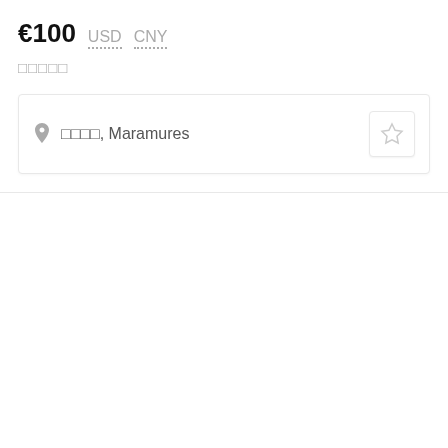€100 USD CNY
□□□□□
📍 □□□□, Maramures